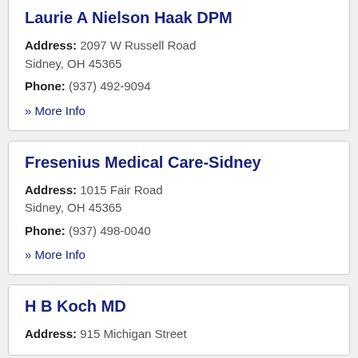Laurie A Nielson Haak DPM
Address: 2097 W Russell Road Sidney, OH 45365
Phone: (937) 492-9094
» More Info
Fresenius Medical Care-Sidney
Address: 1015 Fair Road Sidney, OH 45365
Phone: (937) 498-0040
» More Info
H B Koch MD
Address: 915 Michigan Street